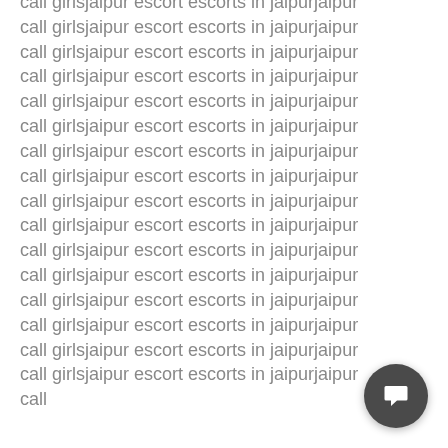call girlsjaipur escort escorts in jaipurjaipur call girlsjaipur escort escorts in jaipurjaipur call girlsjaipur escort escorts in jaipurjaipur call girlsjaipur escort escorts in jaipurjaipur call girlsjaipur escort escorts in jaipurjaipur call girlsjaipur escort escorts in jaipurjaipur call girlsjaipur escort escorts in jaipurjaipur call girlsjaipur escort escorts in jaipurjaipur call girlsjaipur escort escorts in jaipurjaipur call girlsjaipur escort escorts in jaipurjaipur call girlsjaipur escort escorts in jaipurjaipur call girlsjaipur escort escorts in jaipurjaipur call girlsjaipur escort escorts in jaipurjaipur call girlsjaipur escort escorts in jaipurjaipur call girlsjaipur escort escorts in jaipurjaipur call girlsjaipur escort escorts in jaipurjaipur call
[Figure (other): Chat/messaging button — dark circular button with speech bubble icon in the bottom right corner]